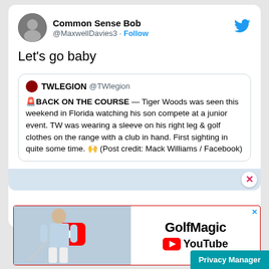[Figure (screenshot): Twitter/X post by Common Sense Bob (@MaxwellDavies3) saying 'Let's go baby' with a quoted tweet from TWLEGION about Tiger Woods being seen on a golf course in Florida]
Common Sense Bob @MaxwellDavies3 · Follow
Let's go baby
TWLEGION @TWlegion 🚨BACK ON THE COURSE — Tiger Woods was seen this weekend in Florida watching his son compete at a junior event. TW was wearing a sleeve on his right leg & golf clothes on the range with a club in hand. First sighting in quite some time. 🙌 (Post credit: Mack Williams / Facebook)
[Figure (screenshot): GolfMagic YouTube advertisement banner with a golfer image on the left, YouTube play button, and GolfMagic YouTube branding on the right]
Privacy Manager